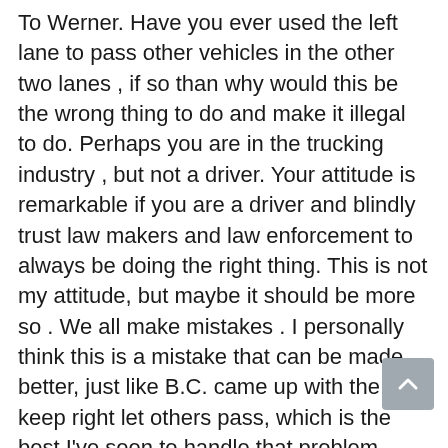To Werner. Have you ever used the left lane to pass other vehicles in the other two lanes , if so than why would this be the wrong thing to do and make it illegal to do. Perhaps you are in the trucking industry , but not a driver. Your attitude is remarkable if you are a driver and blindly trust law makers and law enforcement to always be doing the right thing. This is not my attitude, but maybe it should be more so . We all make mistakes . I personally think this is a mistake that can be made better, just like B.C. came up with the keep right let others pass, which is the best I've seen to handle that problem, anywhere in the world. But thanks Werner for putting forth a good attitude, I'm sure the lawmakers snr traffic law enforcement appreciate you attitude.